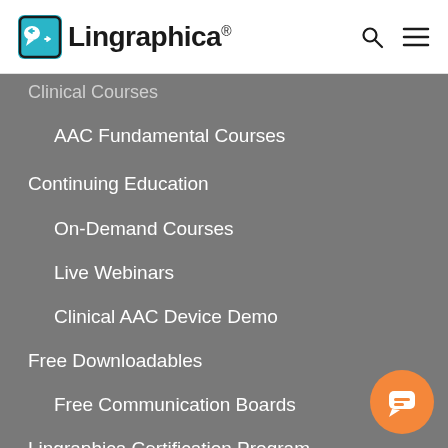[Figure (logo): Lingraphica logo with teal speech bubble icon and bold wordmark with registered trademark symbol]
Clinical Courses (partially visible)
AAC Fundamental Courses
Continuing Education
On-Demand Courses
Live Webinars
Clinical AAC Device Demo
Free Downloadables
Free Communication Boards
Lingraphica Certification Program
Research
Therapy Apps